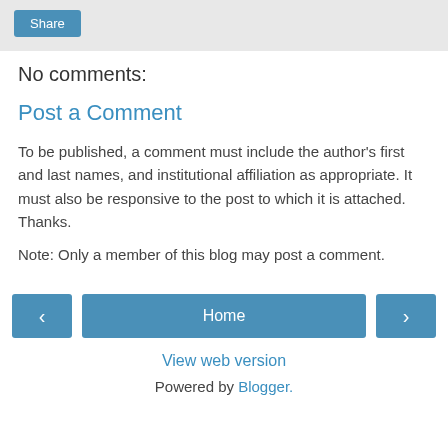Share
No comments:
Post a Comment
To be published, a comment must include the author's first and last names, and institutional affiliation as appropriate. It must also be responsive to the post to which it is attached. Thanks.
Note: Only a member of this blog may post a comment.
‹   Home   ›
View web version
Powered by Blogger.